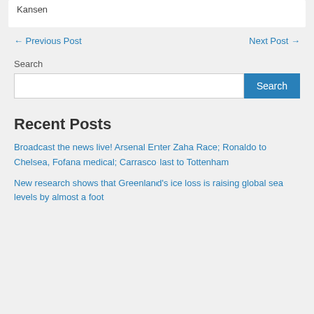Kansen
← Previous Post
Next Post →
Search
Recent Posts
Broadcast the news live! Arsenal Enter Zaha Race; Ronaldo to Chelsea, Fofana medical; Carrasco last to Tottenham
New research shows that Greenland's ice loss is raising global sea levels by almost a foot